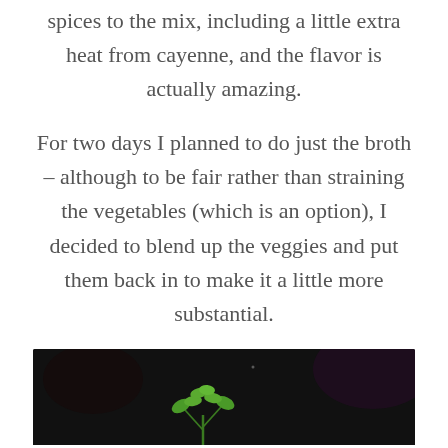spices to the mix, including a little extra heat from cayenne, and the flavor is actually amazing.
For two days I planned to do just the broth – although to be fair rather than straining the vegetables (which is an option), I decided to blend up the veggies and put them back in to make it a little more substantial.
[Figure (photo): Dark background photo showing green leafy herb (appears to be parsley or cilantro) at the bottom of the frame]